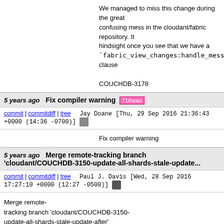We managed to miss this change during the great confusing mess in the cloudant/fabric repository. It hindsight once you see that we have a `fabric_view_changes:handle_message/3` clause

COUCHDB-3178
5 years ago   Fix compiler warning  71/head
commit | commitdiff | tree   Jay Doane [Thu, 29 Sep 2016 21:36:43 +0000 (14:36 -0700)]
Fix compiler warning
5 years ago   Merge remote-tracking branch 'cloudant/COUCHDB-3150-update-all-shards-stale-update...
commit | commitdiff | tree   Paul J. Davis [Wed, 28 Sep 2016 17:27:10 +0000 (12:27 -0500)]
Merge remote-tracking branch 'cloudant/COUCHDB-3150-update-all-shards-stale-update-after'
5 years ago   Update all shards with stale=update_after  70/head